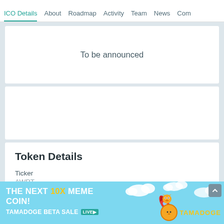ICO Details | About | Roadmap | Activity | Team | News | Com
To be announced
Token Details
Ticker
AWRT
Additional Details
[Figure (infographic): Advertisement banner: THE NEXT 10X MEME COIN! TAMADOGE BETA SALE LIVE. Sky blue background with clouds, rocket, and Tamadoge coin logo.]